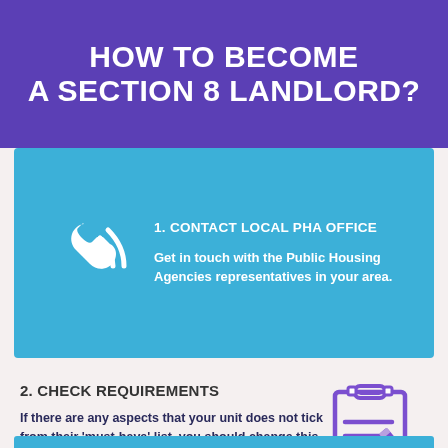HOW TO BECOME A SECTION 8 LANDLORD?
[Figure (infographic): Phone/telephone icon in white on blue background representing contacting a local PHA office]
1. CONTACT LOCAL PHA OFFICE
Get in touch with the Public Housing Agencies representatives in your area.
2. CHECK REQUIREMENTS
If there are any aspects that your unit does not tick from their 'must-have' list, you should change this before moving on to the next step.
[Figure (illustration): Clipboard/notepad with checklist lines and a pencil icon in purple]